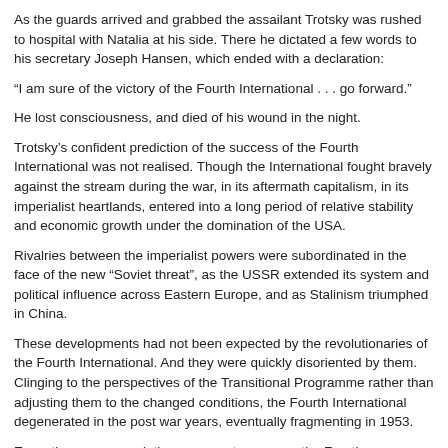As the guards arrived and grabbed the assailant Trotsky was rushed to hospital with Natalia at his side. There he dictated a few words to his secretary Joseph Hansen, which ended with a declaration:
“I am sure of the victory of the Fourth International . . . go forward.”
He lost consciousness, and died of his wound in the night.
Trotsky’s confident prediction of the success of the Fourth International was not realised. Though the International fought bravely against the stream during the war, in its aftermath capitalism, in its imperialist heartlands, entered into a long period of relative stability and economic growth under the domination of the USA.
Rivalries between the imperialist powers were subordinated in the face of the new “Soviet threat”, as the USSR extended its system and political influence across Eastern Europe, and as Stalinism triumphed in China.
These developments had not been expected by the revolutionaries of the Fourth International. And they were quickly disoriented by them. Clinging to the perspectives of the Transitional Programme rather than adjusting them to the changed conditions, the Fourth International degenerated in the post war years, eventually fragmenting in 1953.
Expecting a new revolutionary wave to emerge, the Fourth International remained true to Trotsky’s flawed perspective whilst abandoning what was ultimately far more...